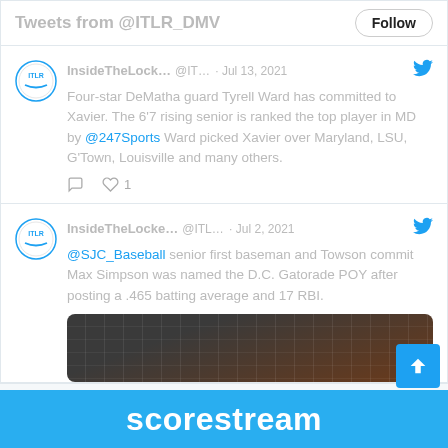Tweets from @ITLR_DMV
InsideTheLock... @IT... · Jul 13, 2021
Four-star DeMatha guard Tyrell Ward has committed to Xavier. The 6'7 rising senior is ranked the top player in MD by @247Sports Ward picked Xavier over Maryland, LSU, G'Town, Louisville and many others.
InsideTheLocke... @ITL... · Jul 2, 2021
@SJC_Baseball senior first baseman and Towson commit Max Simpson was named the D.C. Gatorade POY after posting a .465 batting average and 17 RBI.
[Figure (photo): Dark image with brick wall texture, partially visible at bottom of second tweet]
scorestream